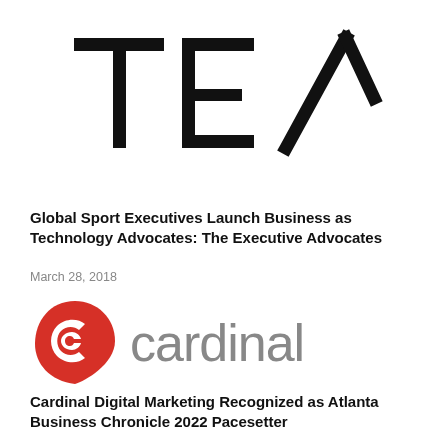[Figure (logo): TEA logo: large bold letters T, E, A with an angular chevron/caret shape replacing the A, all in black on white background]
Global Sport Executives Launch Business as Technology Advocates: The Executive Advocates
March 28, 2018
[Figure (logo): Cardinal Digital Marketing logo: red teardrop/shield shape with a white 'C' inside, followed by the word 'cardinal' in gray lowercase letters]
Cardinal Digital Marketing Recognized as Atlanta Business Chronicle 2022 Pacesetter
April 30, 2022
[Figure (logo): Partially visible logo at bottom: yellow circle background with dark cursive/script letters partially cut off]